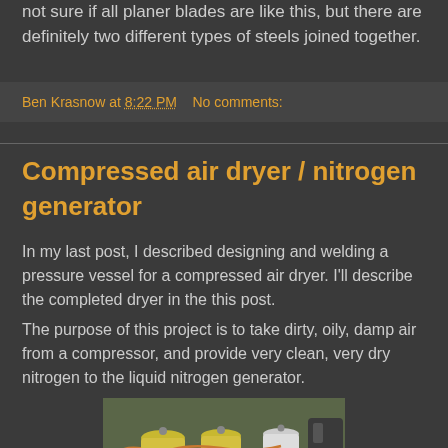not sure if all planer blades are like this, but there are definitely two different types of steels joined together.
Ben Krasnow at 8:22 PM   No comments:
Compressed air dryer / nitrogen generator
In my last post, I described designing and welding a pressure vessel for a compressed air dryer. I'll describe the completed dryer in the this post.
The purpose of this project is to take dirty, oily, damp air from a compressor, and provide very clean, very dry nitrogen to the liquid nitrogen generator.
[Figure (photo): Photo of compressed air dryer equipment showing yellow cylindrical components and copper tubing on a workbench]